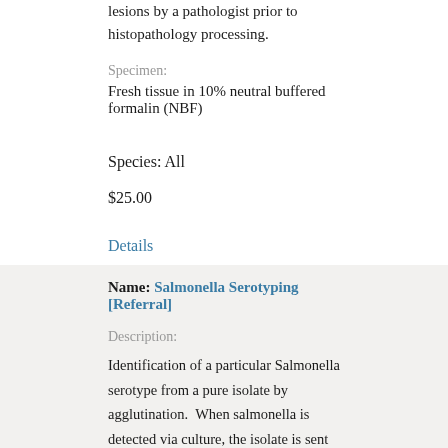lesions by a pathologist prior to histopathology processing.
Specimen:
Fresh tissue in 10% neutral buffered formalin (NBF)
Species: All
$25.00
Details
Name: Salmonella Serotyping [Referral]
Description:
Identification of a particular Salmonella serotype from a pure isolate by agglutination.  When salmonella is detected via culture, the isolate is sent to the National Veterinary Services Laboratory (NVSL) for serotyping at no